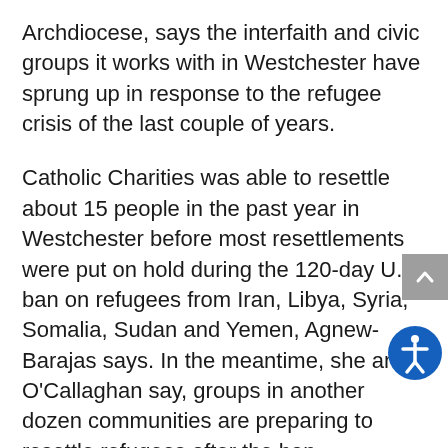Archdiocese, says the interfaith and civic groups it works with in Westchester have sprung up in response to the refugee crisis of the last couple of years.
Catholic Charities was able to resettle about 15 people in the past year in Westchester before most resettlements were put on hold during the 120-day U.S. ban on refugees from Iran, Libya, Syria, Somalia, Sudan and Yemen, Agnew-Barajas says. In the meantime, she and O'Callaghan say, groups in another dozen communities are preparing to resettle refugees after the ban.
The United States admitted about 80,000 refugees from around the world in 2016, up from 75,000 the year before, but that number could be reduced next year to 50,000, which is what President Donald Trump has said he would permit, Agnew-Barajas says. Despite the current political debate about refugees, the program